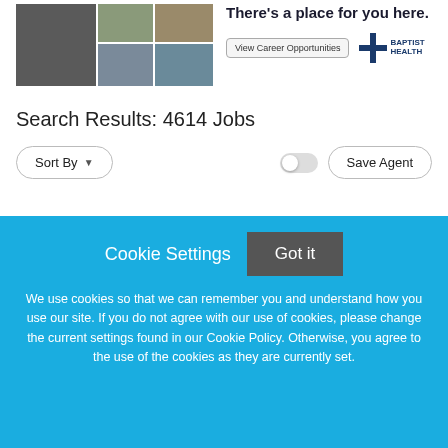[Figure (photo): Collage of healthcare workers and a hospital building exterior]
There's a place for you here. View Career Opportunities [Baptist Health logo]
Search Results: 4614 Jobs
Sort By ▼
Save Agent
Cookie Settings
Got it
We use cookies so that we can remember you and understand how you use our site. If you do not agree with our use of cookies, please change the current settings found in our Cookie Policy. Otherwise, you agree to the use of the cookies as they are currently set.